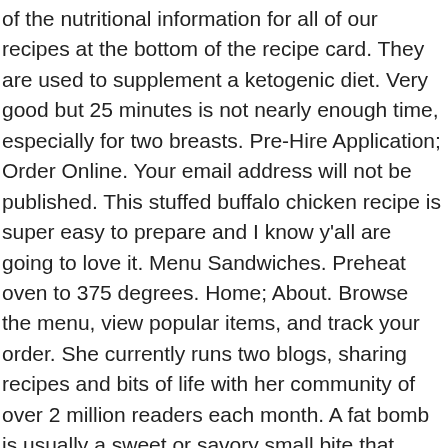of the nutritional information for all of our recipes at the bottom of the recipe card. They are used to supplement a ketogenic diet. Very good but 25 minutes is not nearly enough time, especially for two breasts. Pre-Hire Application; Order Online. Your email address will not be published. This stuffed buffalo chicken recipe is super easy to prepare and I know y'all are going to love it. Menu Sandwiches. Preheat oven to 375 degrees. Home; About. Browse the menu, view popular items, and track your order. She currently runs two blogs, sharing recipes and bits of life with her community of over 2 million readers each month. A fat bomb is usually a sweet or savory small bite that packs a good punch of healthy fats, maybe a bit of protein, and a small amount of carbs. And now the Fat Shallot food truck is on its way. 630 ratings. This restaurant only offers pickup . When it's time to serve, drizzle with ranch dressing, sprinkle with parsley, and dig in! Order delivery online from The Fat Shallot Lincoln Park in Chicago instantly with Seamless! Hope that helps. The Fat Shallot. Sign in . 1 Quart of… + More. I wish there were something to add to the mix to